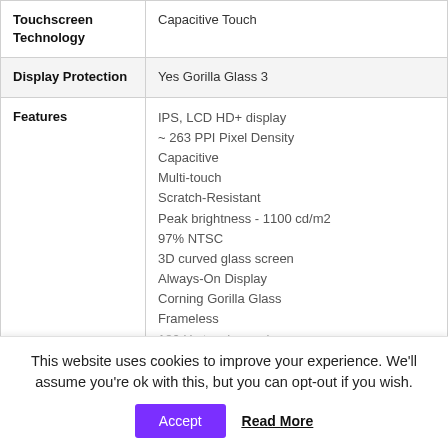|  |  |
| --- | --- |
| Touchscreen Technology | Capacitive Touch |
| Display Protection | Yes Gorilla Glass 3 |
| Features | IPS, LCD HD+ display
~ 263 PPI Pixel Density
Capacitive
Multi-touch
Scratch-Resistant
Peak brightness - 1100 cd/m2
97% NTSC
3D curved glass screen
Always-On Display
Corning Gorilla Glass
Frameless
180 Hz touch-sensing |
This website uses cookies to improve your experience. We'll assume you're ok with this, but you can opt-out if you wish.